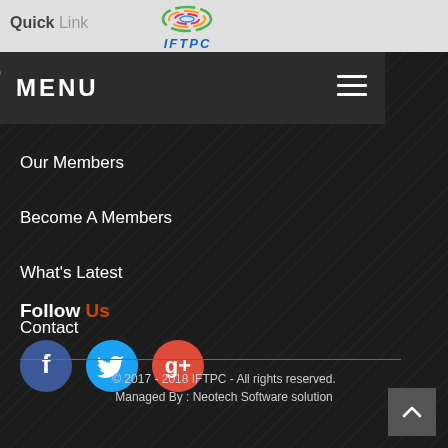Quick Link
[Figure (logo): IFTPC colorful swirl logo with text IFTPC below in blue italic letters]
MENU
Our Members
Become A Members
What's Latest
Contact
Follow Us
[Figure (illustration): Three social media icon circles: Facebook (blue), Twitter (light blue), Google Plus (red)]
© 2017 - 2018 IFTPC - All rights reserved.
Managed By : Neotech Software solution